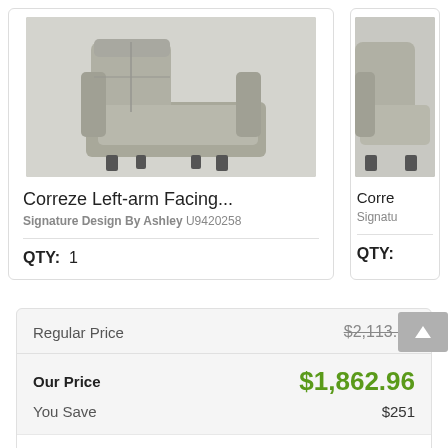[Figure (photo): Gray leather power recliner chair shown from the side, Correze Left-arm Facing model]
Correze Left-arm Facing...
Signature Design By Ashley U9420258
QTY:  1
[Figure (photo): Partial view of a second Correze product card, cropped on right edge]
Corre
Signatu
QTY:
| Regular Price | $2,113.96 |
| Our Price | $1,862.96 |
| You Save | $251 |
Enter Zip Code *
For delivery options and item availability.